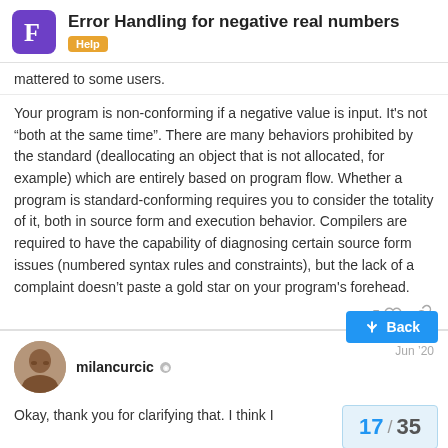Error Handling for negative real numbers — Help
mattered to some users.
Your program is non-conforming if a negative value is input. It's not “both at the same time”. There are many behaviors prohibited by the standard (deallocating an object that is not allocated, for example) which are entirely based on program flow. Whether a program is standard-conforming requires you to consider the totality of it, both in source form and execution behavior. Compilers are required to have the capability of diagnosing certain source form issues (numbered syntax rules and constraints), but the lack of a complaint doesn’t paste a gold star on your program's forehead.
milancurcic — Jun '20
Okay, thank you for clarifying that. I think I